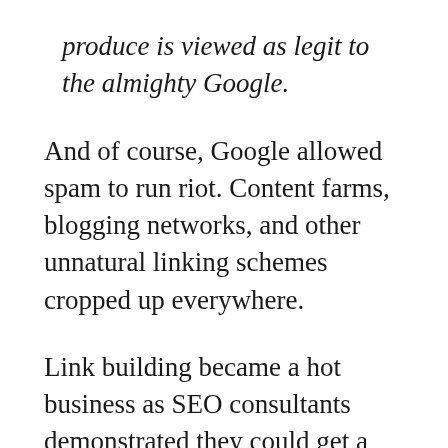produce is viewed as legit to the almighty Google.
And of course, Google allowed spam to run riot. Content farms, blogging networks, and other unnatural linking schemes cropped up everywhere.
Link building became a hot business as SEO consultants demonstrated they could get a website ranked by simply creating a mountain of cheap content.
True, there were those who were creating